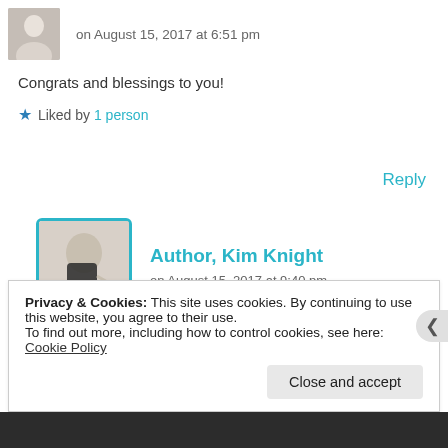on August 15, 2017 at 6:51 pm
Congrats and blessings to you!
★ Liked by 1 person
Reply
Author, Kim Knight
on August 15, 2017 at 9:40 pm
Thank you so much, thanks for stopping by.
Privacy & Cookies: This site uses cookies. By continuing to use this website, you agree to their use.
To find out more, including how to control cookies, see here:
Cookie Policy
Close and accept